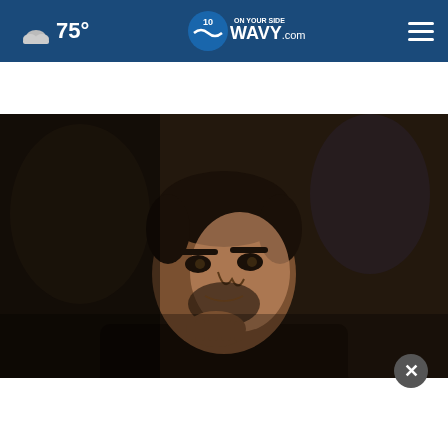75° WAVY.com On Your Side
AROUND THE WEB
[Figure (photo): Dark portrait photo of a man with short dark hair and beard, hand raised to chin in a contemplative pose, dark background]
Zelensky: Russian troops at 'dead end'
[Figure (infographic): AARP Ad Council advertisement banner: It's not too late to take charge of your retirement. Get your top 3 tips arrow button. Ad Council logo and AARP Real Possibilities logo with sun/dollar coin graphic.]